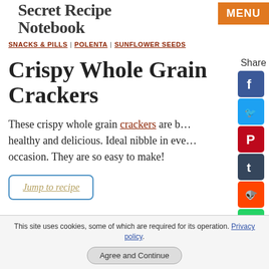Secret Recipe Notebook
SNACKS & PILLS | POLENTA | SUNFLOWER SEEDS
Crispy Whole Grain Crackers
These crispy whole grain crackers are b… healthy and delicious. Ideal nibble in eve… occasion. They are so easy to make!
Jump to recipe
[Figure (screenshot): Social share sidebar with Facebook, Twitter, Pinterest, Tumblr, Reddit, WhatsApp icons]
This site uses cookies, some of which are required for its operation. Privacy policy.